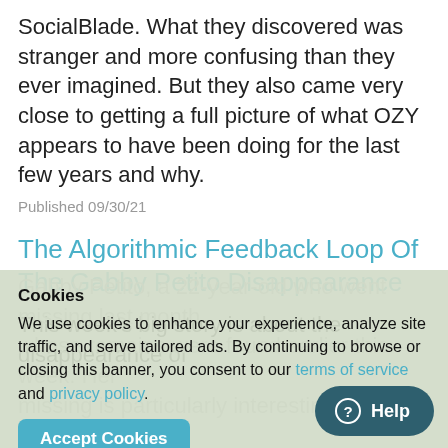SocialBlade. What they discovered was stranger and more confusing than they ever imagined. But they also came very close to getting a full picture of what OZY appears to have been doing for the last few years and why.
Published 09/30/21
The Algorithmic Feedback Loop Of The Gabby Petito Disappearance
This week's big story is about the disappearance of Gabby Petito, a 22-year-old who went missing last month whose remains were found earlier this week. Her missing is particularly interesting because social media, particularly TikTok and YouTube, have been trending content on this story, examining the true crime and how algorithms of those apps are pushing it to unprecedented prominence, this kind of content pushing it to unprecedented...
Cookies
We use cookies to enhance your experience, analyze site traffic, and serve tailored ads. By continuing to browse or closing this banner, you consent to our terms of service and privacy policy.
Accept Cookies